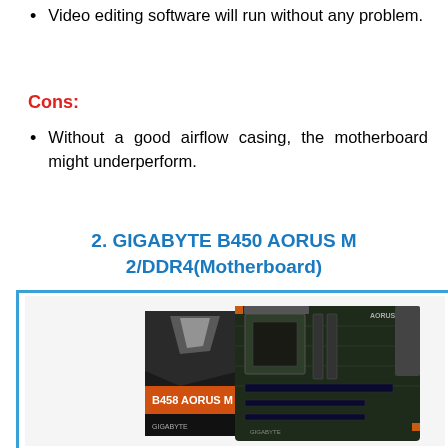Video editing software will run without any problem.
Cons:
Without a good airflow casing, the motherboard might underperform.
2. GIGABYTE B450 AORUS M 2/DDR4(Motherboard)
[Figure (photo): Product photo of GIGABYTE B450 AORUS M motherboard and its retail box]